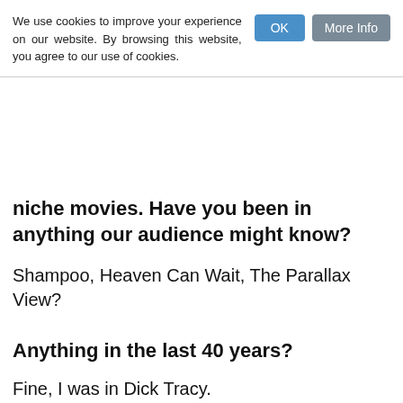We use cookies to improve your experience on our website. By browsing this website, you agree to our use of cookies.
niche movies. Have you been in anything our audience might know?
Shampoo, Heaven Can Wait, The Parallax View?
Anything in the last 40 years?
Fine, I was in Dick Tracy.